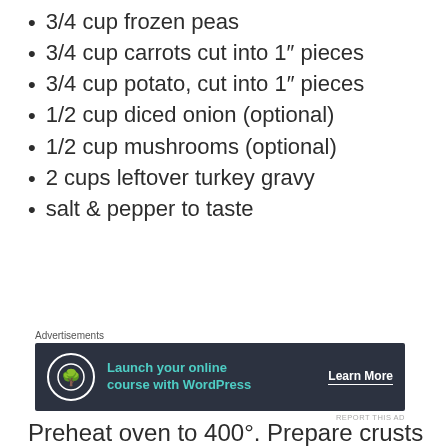3/4 cup frozen peas
3/4 cup carrots cut into 1″ pieces
3/4 cup potato, cut into 1″ pieces
1/2 cup diced onion (optional)
1/2 cup mushrooms (optional)
2 cups leftover turkey gravy
salt & pepper to taste
[Figure (other): Advertisement banner: Launch your online course with WordPress – Learn More]
Preheat oven to 400°. Prepare crusts